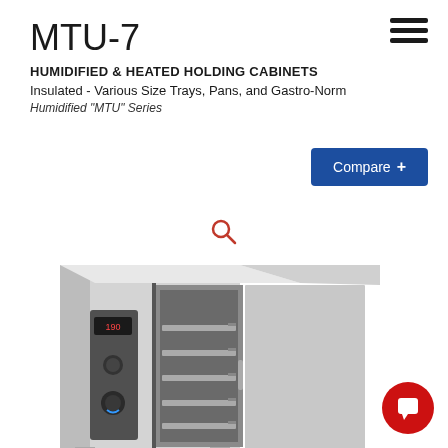MTU-7
HUMIDIFIED & HEATED HOLDING CABINETS
Insulated - Various Size Trays, Pans, and Gastro-Norm
Humidified "MTU" Series
[Figure (other): Hamburger menu icon (three horizontal lines)]
[Figure (other): Blue Compare button with plus icon]
[Figure (other): Search magnifying glass icon]
[Figure (photo): Photo of MTU-7 humidified and heated holding cabinet, stainless steel with open door showing interior trays and shelves, digital control panel on left side]
[Figure (other): Red circular chat/message button in bottom right corner]